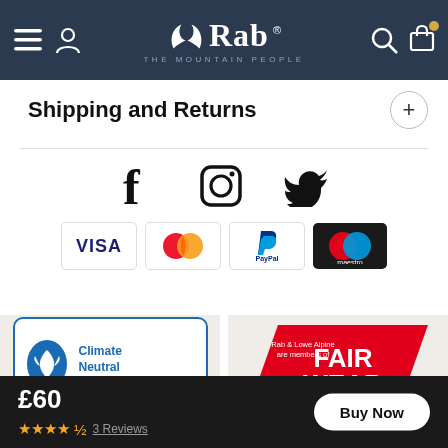Rab — THE MOUNTAIN PEOPLE
Shipping and Returns
[Figure (logo): Social media icons: Facebook, Instagram, Twitter]
[Figure (logo): Payment method logos: VISA, Mastercard, PayPal, Maestro]
[Figure (logo): Climate Neutral Company certified by South Pole logo]
[Figure (logo): Rab & Lowe Alpine are members of Fair Wear — fairwear.org]
£60
★★★★½  3 Reviews
Buy Now